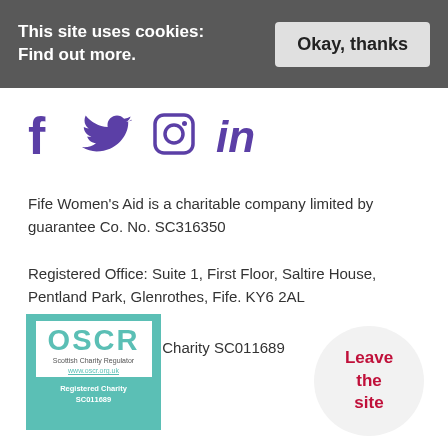This site uses cookies: Find out more.
[Figure (infographic): Social media icons: Facebook, Twitter, Instagram, LinkedIn in purple/violet color]
Fife Women's Aid is a charitable company limited by guarantee Co. No. SC316350
Registered Office: Suite 1, First Floor, Saltire House, Pentland Park, Glenrothes, Fife. KY6 2AL
Registered Scottish Charity SC011689
[Figure (logo): OSCR Scottish Charity Regulator badge - teal/green background with white OSCR logo, www.oscr.org.uk, Registered Charity SC011689]
Leave the site